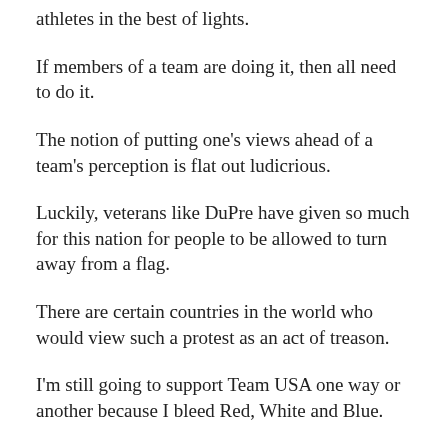athletes in the best of lights.
If members of a team are doing it, then all need to do it.
The notion of putting one's views ahead of a team's perception is flat out ludicrious.
Luckily, veterans like DuPre have given so much for this nation for people to be allowed to turn away from a flag.
There are certain countries in the world who would view such a protest as an act of treason.
I'm still going to support Team USA one way or another because I bleed Red, White and Blue.
Do I agree with the act of protest? That's a debate for another time.
On the Olympic stage, our athletes should be